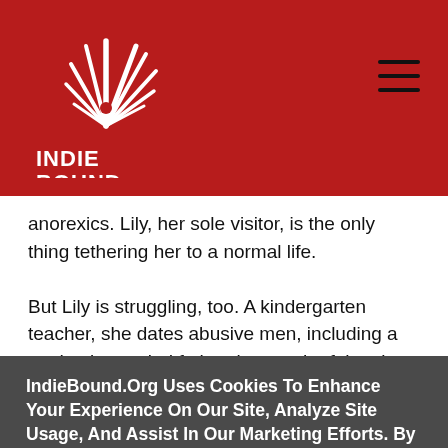[Figure (logo): IndieBound logo — white feather/book graphic with INDIE BOUND text on red background]
anorexics. Lily, her sole visitor, is the only thing tethering her to a normal life.

But Lily is struggling, too. A kindergarten teacher, she dates abusive men, including a student's married father, in search of the close yet complicated companionship she lost when she became
IndieBound.Org Uses Cookies To Enhance Your Experience On Our Site, Analyze Site Usage, And Assist In Our Marketing Efforts. By Clicking Accept, You Agree To The Storing Of Cookies On Your Device. View Our Cookie Policy.
Give me more info
Accept all Cookies